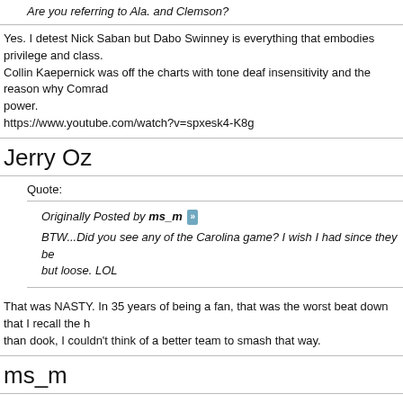Are you referring to Ala. and Clemson?
Yes. I detest Nick Saban but Dabo Swinney is everything that embodies privilege and class. Collin Kaepernick was off the charts with tone deaf insensitivity and the reason why Comrad power.
https://www.youtube.com/watch?v=spxesk4-K8g
Jerry Oz
Quote:
Originally Posted by ms_m »
BTW...Did you see any of the Carolina game? I wish I had since they be but loose. LOL
That was NASTY. In 35 years of being a fan, that was the worst beat down that I recall the h than dook, I couldn't think of a better team to smash that way.
ms_m
Quote:
Originally Posted by Jerry Oz »